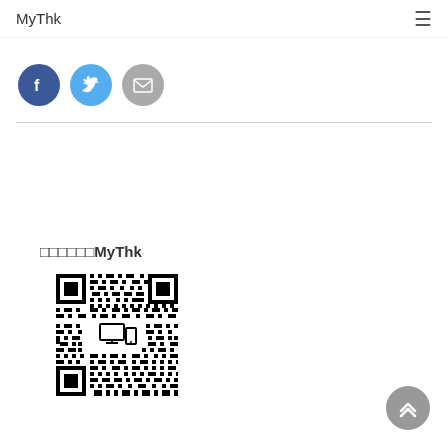MyThk
[Figure (illustration): Social share buttons: Facebook (blue circle with f), Twitter (blue circle with bird), Email (gray circle with envelope)]
[Figure (other): QR code for MyThk website with device icons in center]
□□□□□□MyThk